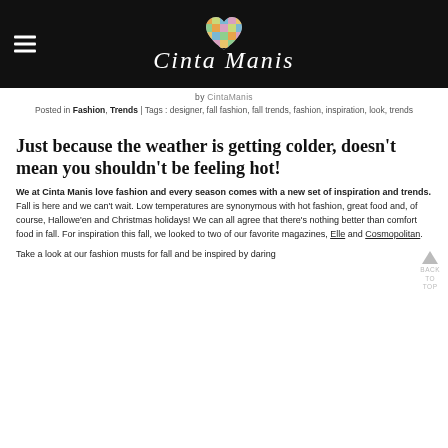CintaManis
by CintaManis
Posted in Fashion, Trends | Tags : designer, fall fashion, fall trends, fashion, inspiration, look, trends
Just because the weather is getting colder, doesn't mean you shouldn't be feeling hot!
We at Cinta Manis love fashion and every season comes with a new set of inspiration and trends. Fall is here and we can't wait. Low temperatures are synonymous with hot fashion, great food and, of course, Hallowe'en and Christmas holidays! We can all agree that there's nothing better than comfort food in fall. For inspiration this fall, we looked to two of our favorite magazines, Elle and Cosmopolitan.
Take a look at our fashion musts for fall and be inspired by daring